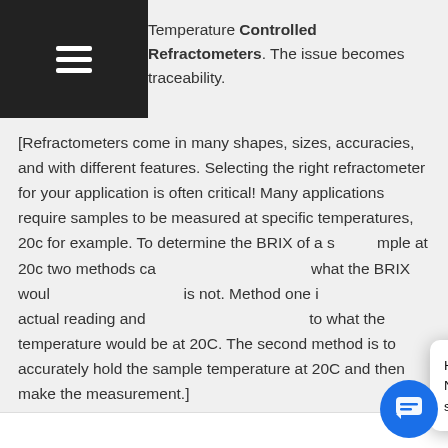Temperature Controlled Refractometers. The issue becomes traceability.
[Refractometers come in many shapes, sizes, accuracies, and with different features. Selecting the right refractometer for your application is often critical! Many applications require samples to be measured at specific temperatures, 20c for example. To determine the BRIX of a sample at 20c two methods ca... what the BRIX woul... is not. Method one i... actual reading and ... to what the temperature would be at 20C. The second method is to accurately hold the sample temperature at 20C and then make the measurement.]
[Figure (illustration): Chat widget popup with reindeer mascot, close button (×), and text: 'Have a question? I can help! Need information fast? I'm your shortcut. Click on Me! Dr. Rudy']
[Figure (illustration): Blue circular chat button in bottom right corner with chat icon]
English